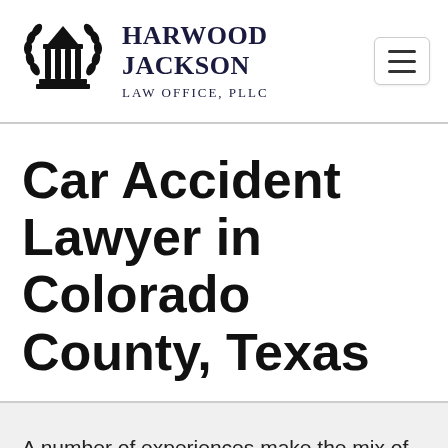[Figure (logo): Harwood Jackson Law Office PLLC logo with courthouse/pillars icon and laurel wreath]
Car Accident Lawyer in Colorado County, Texas
A number of experiences make the mix of anxiety, confusion, and stress that outcomes from a car accident. So much occurs at the